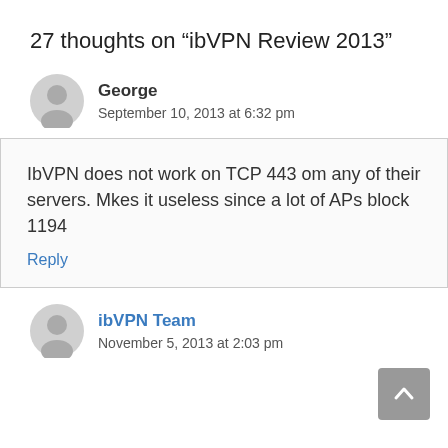27 thoughts on “ibVPN Review 2013”
George
September 10, 2013 at 6:32 pm
IbVPN does not work on TCP 443 om any of their servers. Mkes it useless since a lot of APs block 1194
Reply
ibVPN Team
November 5, 2013 at 2:03 pm